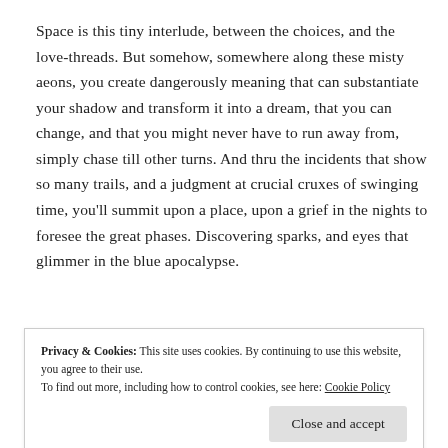Space is this tiny interlude, between the choices, and the love-threads. But somehow, somewhere along these misty aeons, you create dangerously meaning that can substantiate your shadow and transform it into a dream, that you can change, and that you might never have to run away from, simply chase till other turns. And thru the incidents that show so many trails, and a judgment at crucial cruxes of swinging time, you’ll summit upon a place, upon a grief in the nights to foresee the great phases. Discovering sparks, and eyes that glimmer in the blue apocalypse.
fall within a district of influences, and those feelings rise
Privacy & Cookies: This site uses cookies. By continuing to use this website, you agree to their use.
To find out more, including how to control cookies, see here: Cookie Policy